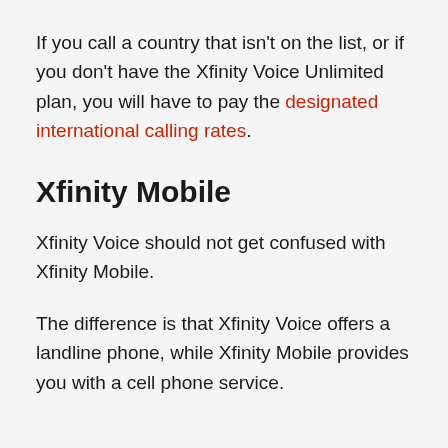If you call a country that isn't on the list, or if you don't have the Xfinity Voice Unlimited plan, you will have to pay the designated international calling rates.
Xfinity Mobile
Xfinity Voice should not get confused with Xfinity Mobile.
The difference is that Xfinity Voice offers a landline phone, while Xfinity Mobile provides you with a cell phone service.